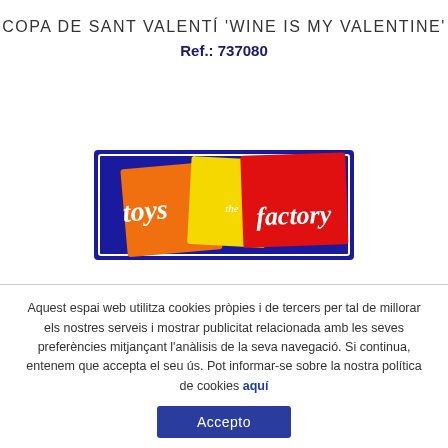COPA DE SANT VALENTÍ 'WINE IS MY VALENTINE'
Ref.: 737080
[Figure (logo): Toys and Factory logo: blue rectangular background with orange, yellow and red colored square shapes, white cursive text 'toys' and 'factory' with 'the' in smaller script in the middle]
Aquest espai web utilitza cookies pròpies i de tercers per tal de millorar els nostres serveis i mostrar publicitat relacionada amb les seves preferències mitjançant l'anàlisis de la seva navegació. Si continua, entenem que accepta el seu ús. Pot informar-se sobre la nostra política de cookies aquí
Accepto